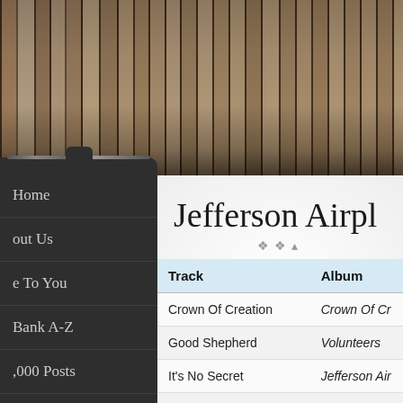[Figure (photo): Bookshelf with vinyl records and books viewed from below, showing spines with text including James Brown, Eric Clapton, Fotheringay, George, and other titles]
Jefferson Airpl
| Track | Album |
| --- | --- |
| Crown Of Creation | Crown Of Cr |
| Good Shepherd | Volunteers |
| It's No Secret | Jefferson Air |
| Lather | Crown Of Cr |
| Somebody To Love | Surrealistic P |
| Third Week In The Chelsea | Bark |
Home
out Us
e To You
Bank A-Z
,000 Posts
onology